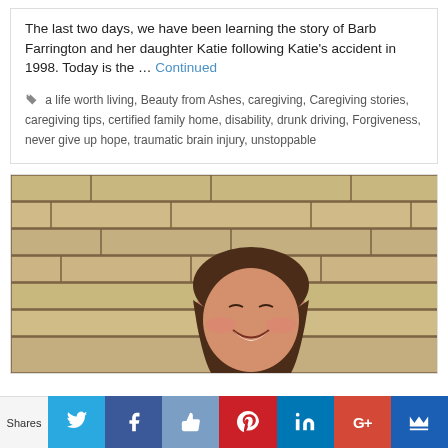The last two days, we have been learning the story of Barb Farrington and her daughter Katie following Katie's accident in 1998. Today is the … Continued
a life worth living, Beauty from Ashes, caregiving, Caregiving stories, caregiving tips, certified family home, disability, drunk driving, Forgiveness, never give up hope, traumatic brain injury, unstoppable
[Figure (photo): A smiling young woman with brown hair photographed in front of a brick wall background.]
Shares